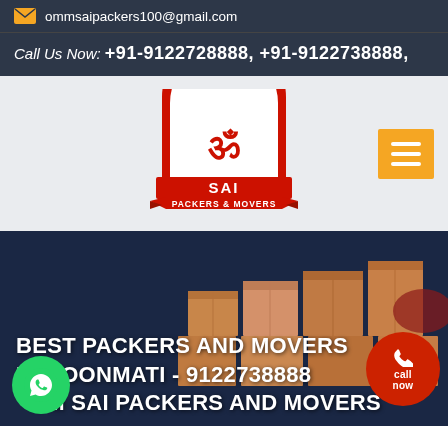ommsaipackers100@gmail.com
Call Us Now: +91-9122728888, +91-9122738888,
[Figure (logo): Om Sai Packers & Movers logo — red semicircle arch with Om symbol, red banner with SAI text, and PACKERS & MOVERS ribbon below]
BEST PACKERS AND MOVERS IN NOONMATI - 9122738888 OM SAI PACKERS AND MOVERS